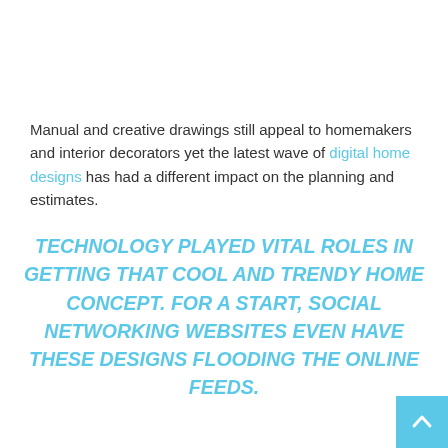Manual and creative drawings still appeal to homemakers and interior decorators yet the latest wave of digital home designs has had a different impact on the planning and estimates.
TECHNOLOGY PLAYED VITAL ROLES IN GETTING THAT COOL AND TRENDY HOME CONCEPT. FOR A START, SOCIAL NETWORKING WEBSITES EVEN HAVE THESE DESIGNS FLOODING THE ONLINE FEEDS.